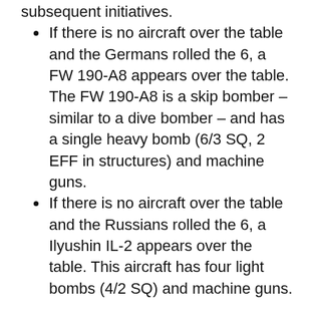If there is no aircraft over the table and the Germans rolled the 6, a FW 190-A8 appears over the table. The FW 190-A8 is a skip bomber – similar to a dive bomber – and has a single heavy bomb (6/3 SQ, 2 EFF in structures) and machine guns.
If there is no aircraft over the table and the Russians rolled the 6, a Ilyushin IL-2 appears over the table. This aircraft has four light bombs (4/2 SQ) and machine guns.
Once on-table aircraft act in a similar way to off table artillery. As with artillery fire, failure to suppress or kill with an aircraft's attacks does not end the phasing player's initiative.